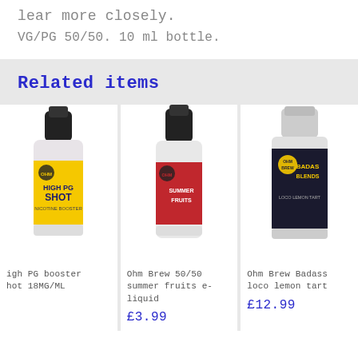lear more closely.
VG/PG 50/50. 10 ml bottle.
Related items
[Figure (photo): Yellow labeled e-liquid bottle with black cap, High PG Shot 18MG/ML, Ohm Brew brand]
igh PG booster
hot 18MG/ML
[Figure (photo): Red labeled e-liquid bottle with black cap, summer fruits e-liquid, Ohm Brew brand]
Ohm Brew 50/50 summer fruits e-liquid
£3.99
[Figure (photo): Dark labeled e-liquid bottle with white cap, Badass Blends loco lemon tart, Ohm Brew brand]
Ohm Brew Badass loco lemon tart
£12.99